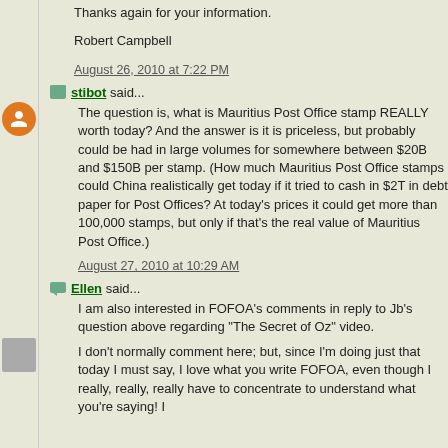Thanks again for your information.
Robert Campbell
August 26, 2010 at 7:22 PM
stibot said...
The question is, what is Mauritius Post Office stamp REALLY worth today? And the answer is it is priceless, but probably could be had in large volumes for somewhere between $20B and $150B per stamp. (How much Mauritius Post Office stamps could China realistically get today if it tried to cash in $2T in debt paper for Post Offices? At today's prices it could get more than 100,000 stamps, but only if that's the real value of Mauritius Post Office.)
August 27, 2010 at 10:29 AM
Ellen said...
I am also interested in FOFOA's comments in reply to Jb's question above regarding "The Secret of Oz" video.
I don't normally comment here; but, since I'm doing just that today I must say, I love what you write FOFOA, even though I really, really, really have to concentrate to understand what you're saying! I